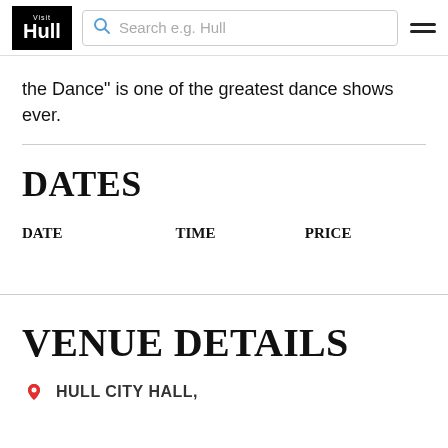Visit Hull — Search e.g. Hull
the Dance" is one of the greatest dance shows ever.
DATES
| DATE | TIME | PRICE |
| --- | --- | --- |
VENUE DETAILS
HULL CITY HALL,